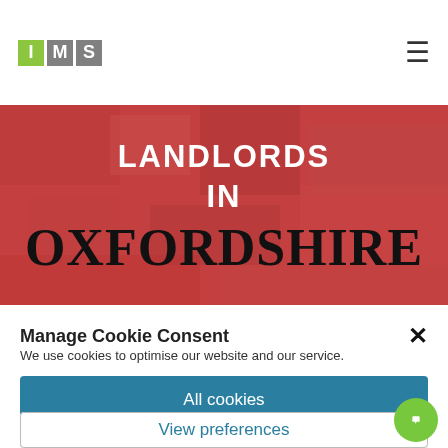IMS logo and navigation
[Figure (photo): Aerial/overhead red-tinted photo background with large white bold text reading LANDLORDS IN OXFORDSHIRE]
Manage Cookie Consent
We use cookies to optimise our website and our service.
All cookies
Deny
View preferences